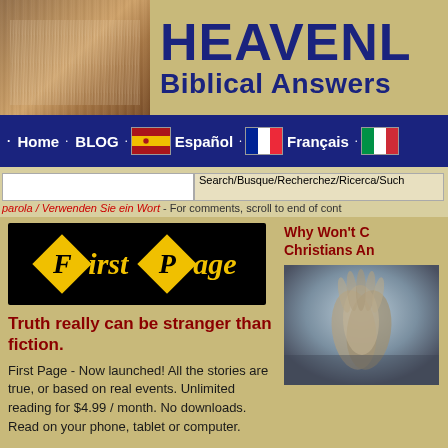[Figure (screenshot): Website header with Bible image on left and 'HEAVENLY Biblical Answers' text on right with dark blue background]
HEAVENLY Biblical Answers
· Home · BLOG · Español · Français ·
Search/Busque/Recherchez/Ricerca/Such parola / Verwenden Sie ein Wort - For comments, scroll to end of cont
[Figure (logo): First Page logo with yellow diamond shapes on black background, italic text reading 'First Page']
Truth really can be stranger than fiction.
First Page - Now launched! All the stories are true, or based on real events. Unlimited reading for $4.99 / month. No downloads. Read on your phone, tablet or computer.
Why Won't C Christians An
[Figure (photo): Praying hands photo in bluish-grey tones]